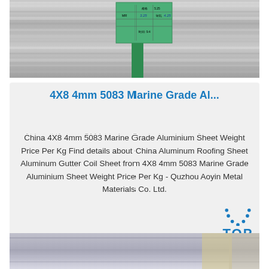[Figure (photo): Photo of shiny aluminum metal coil rolls with a green label/tag attached, showing product identification information]
4X8 4mm 5083 Marine Grade Al...
China 4X8 4mm 5083 Marine Grade Aluminium Sheet Weight Price Per Kg Find details about China Aluminum Roofing Sheet Aluminum Gutter Coil Sheet from 4X8 4mm 5083 Marine Grade Aluminium Sheet Weight Price Per Kg - Quzhou Aoyin Metal Materials Co. Ltd.
Get Price
[Figure (photo): Photo of stacked aluminum sheets/panels showing their edge profile, silver metallic surface]